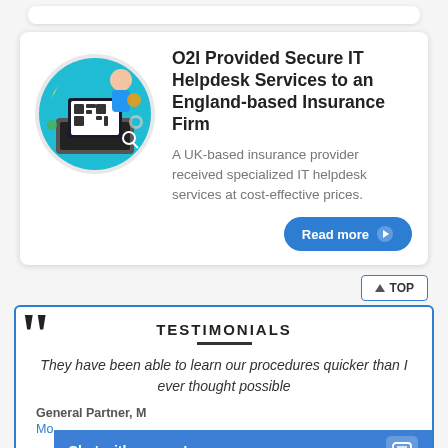[Figure (illustration): Circular teal illustration showing a person at a laptop with IT/helpdesk icons]
O2I Provided Secure IT Helpdesk Services to an England-based Insurance Firm
A UK-based insurance provider received specialized IT helpdesk services at cost-effective prices.
Read more
TOP
TESTIMONIALS
They have been able to learn our procedures quicker than I ever thought possible
General Partner, M...
Mo...
Chat with us now!